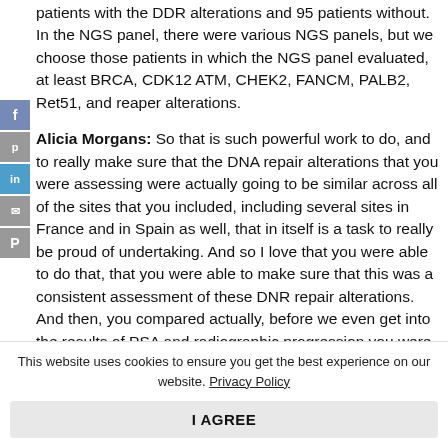patients with the DDR alterations and 95 patients without. In the NGS panel, there were various NGS panels, but we choose those patients in which the NGS panel evaluated, at least BRCA, CDK12 ATM, CHEK2, FANCM, PALB2, Ret51, and reaper alterations.
Alicia Morgans: So that is such powerful work to do, and to really make sure that the DNA repair alterations that you were assessing were actually going to be similar across all of the sites that you included, including several sites in France and in Spain as well, that in itself is a task to really be proud of undertaking. And so I love that you were able to do that, that you were able to make sure that this was a consistent assessment of these DNR repair alterations. And then, you compared actually, before we even get into the results of PSA and radiographic progression you were able to compare
This website uses cookies to ensure you get the best experience on our website. Privacy Policy
I AGREE